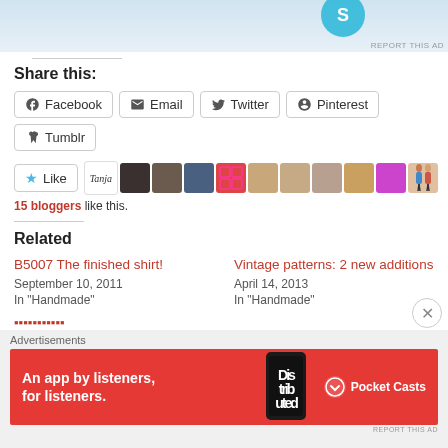[Figure (screenshot): Top partial advertisement banner with light blue background]
REPORT THIS AD
Share this:
Facebook  Email  Twitter  Pinterest  Tumblr
Like  [avatars: Tanja and 15 other bloggers]
15 bloggers like this.
Related
B5007 The finished shirt!
September 10, 2011
In "Handmade"
Vintage patterns: 2 new additions
April 14, 2013
In "Handmade"
Advertisements
[Figure (screenshot): Pocket Casts red advertisement banner: 'An app by listeners, for listeners.' with phone graphic and Pocket Casts logo]